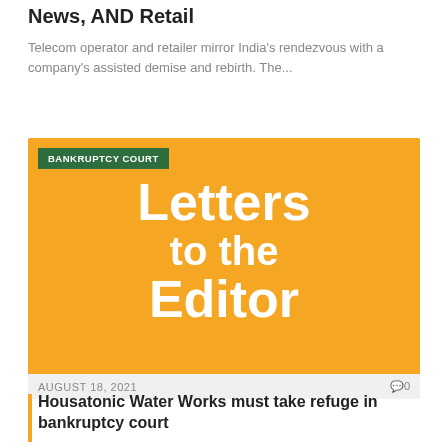News, AND Retail
Telecom operator and retailer mirror India's rendezvous with a company's assisted demise and rebirth. The...
[Figure (illustration): Orange background image with white bold text reading 'Letters to the Editor', with a dark green badge in the top left corner reading 'BANKRUPTCY COURT']
AUGUST 18, 2021
0
Housatonic Water Works must take refuge in bankruptcy court